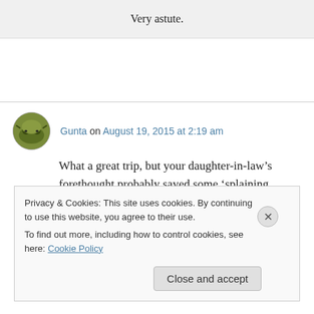Very astute.
Gunta on August 19, 2015 at 2:19 am
What a great trip, but your daughter-in-law’s forethought probably saved some ‘splaining.
Privacy & Cookies: This site uses cookies. By continuing to use this website, you agree to their use.
To find out more, including how to control cookies, see here: Cookie Policy